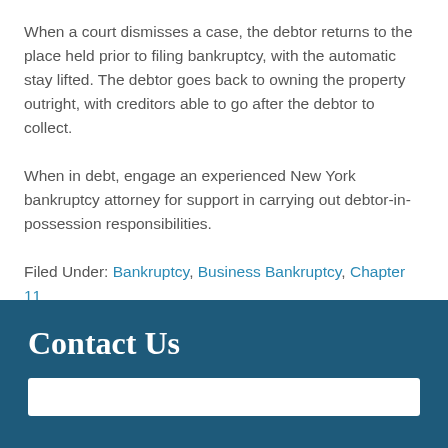When a court dismisses a case, the debtor returns to the place held prior to filing bankruptcy, with the automatic stay lifted. The debtor goes back to owning the property outright, with creditors able to go after the debtor to collect.
When in debt, engage an experienced New York bankruptcy attorney for support in carrying out debtor-in-possession responsibilities.
Filed Under: Bankruptcy, Business Bankruptcy, Chapter 11
Contact Us